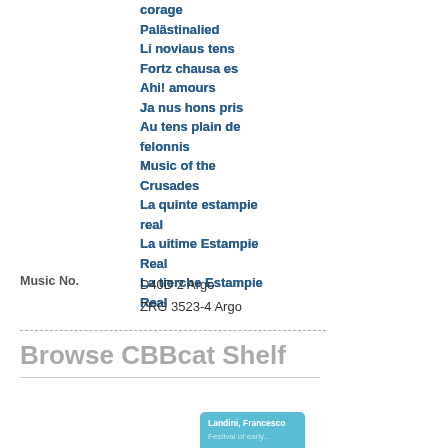corage
Palästinalied
Li noviaus tens
Fortz chausa es
Ahi! amours
Ja nus hons pris
Au tens plain de felonnis
Music of the Crusades
La quinte estampie real
La uitime Estampie Real
La tierche Estampie Real
Music No.    D40D 2 Argo
             ZRG 3523-4 Argo
Browse CBBcat Shelf
[Figure (other): Book card thumbnail showing author Landini, Francesco and partial title Festival of early...]